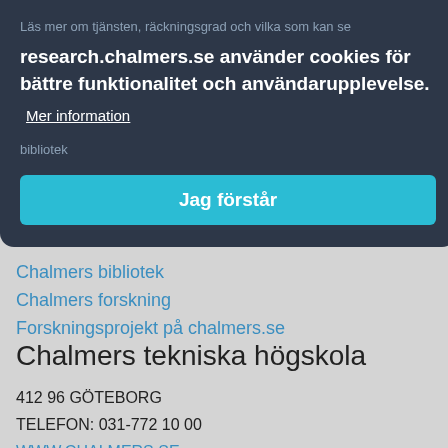Läs mer om tjänsten, räckningsgrad och vilka som kan se...
research.chalmers.se använder cookies för bättre funktionalitet och användarupplevelse.
Mer information
Jag förstår
Länkar
Chalmers bibliotek
Chalmers forskning
Forskningsprojekt på chalmers.se
Chalmers tekniska högskola
412 96 GÖTEBORG
TELEFON: 031-772 10 00
WWW.CHALMERS.SE